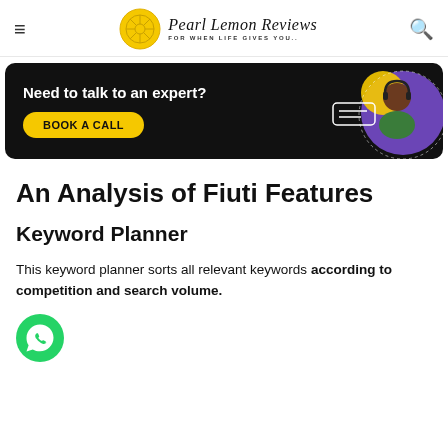Pearl Lemon Reviews - FOR WHEN LIFE GIVES YOU..
[Figure (illustration): Advertisement banner with dark background. Text reads 'Need to talk to an expert?' with a yellow 'BOOK A CALL' button and an illustrated figure of a person with headset on the right.]
An Analysis of Fiuti Features
Keyword Planner
This keyword planner sorts all relevant keywords according to competition and search volume.
[Figure (illustration): Green WhatsApp icon/button in the bottom left corner.]